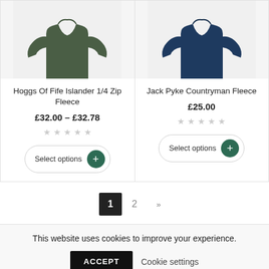[Figure (photo): Green long-sleeve fleece top (Hoggs Of Fife Islander 1/4 Zip Fleece) on white background]
[Figure (photo): Navy blue long-sleeve fleece top (Jack Pyke Countryman Fleece) on white background]
Hoggs Of Fife Islander 1/4 Zip Fleece
£32.00 – £32.78
★ ★ ★ ★ ★
Select options
Jack Pyke Countryman Fleece
£25.00
★ ★ ★ ★ ★
Select options
1  2  »
This website uses cookies to improve your experience.
ACCEPT
Cookie settings